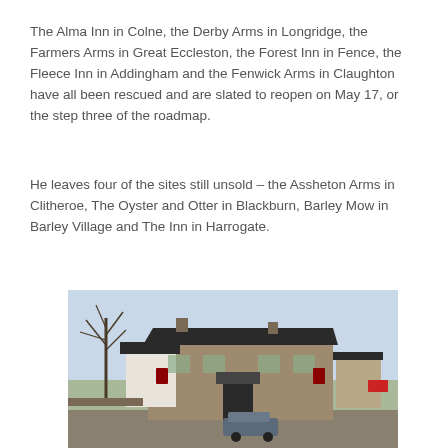The Alma Inn in Colne, the Derby Arms in Longridge, the Farmers Arms in Great Eccleston, the Forest Inn in Fence, the Fleece Inn in Addingham and the Fenwick Arms in Claughton have all been rescued and are slated to reopen on May 17, or the step three of the roadmap.
He leaves four of the sites still unsold – the Assheton Arms in Clitheroe, The Oyster and Otter in Blackburn, Barley Mow in Barley Village and The Inn in Harrogate.
[Figure (photo): Exterior photograph of a stone-built traditional English pub building with a dark roof, bare trees to the left, a car park in front, and a light blue sky. Signs are visible on the building facade.]